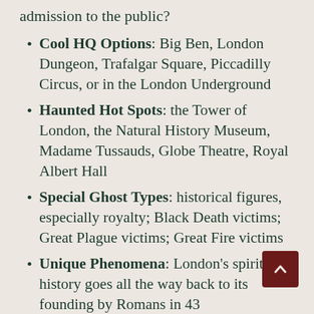admission to the public?
Cool HQ Options: Big Ben, London Dungeon, Trafalgar Square, Piccadilly Circus, or in the London Underground
Haunted Hot Spots: the Tower of London, the Natural History Museum, Madame Tussauds, Globe Theatre, Royal Albert Hall
Special Ghost Types: historical figures, especially royalty; Black Death victims; Great Plague victims; Great Fire victims
Unique Phenomena: London's spiritual history goes all the way back to its founding by Romans in 43